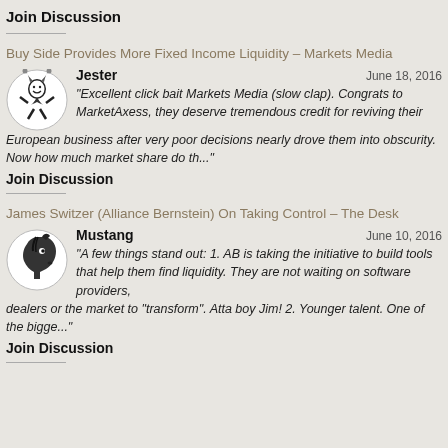Join Discussion
Buy Side Provides More Fixed Income Liquidity – Markets Media
Jester   June 18, 2016
"Excellent click bait Markets Media (slow clap). Congrats to MarketAxess, they deserve tremendous credit for reviving their European business after very poor decisions nearly drove them into obscurity. Now how much market share do th..."
Join Discussion
James Switzer (Alliance Bernstein) On Taking Control – The Desk
Mustang   June 10, 2016
"A few things stand out: 1. AB is taking the initiative to build tools that help them find liquidity. They are not waiting on software providers, dealers or the market to "transform". Atta boy Jim! 2. Younger talent. One of the bigge..."
Join Discussion